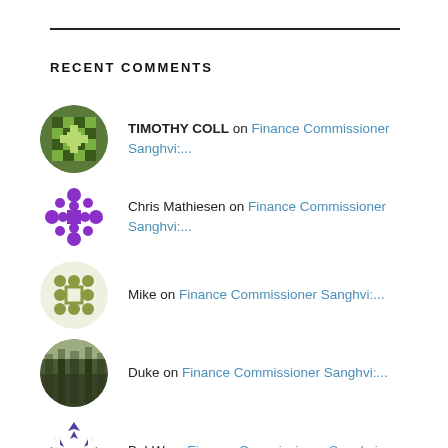RECENT COMMENTS
TIMOTHY COLL on Finance Commissioner Sanghvi:...
Chris Mathiesen on Finance Commissioner Sanghvi:...
Mike on Finance Commissioner Sanghvi:...
Duke on Finance Commissioner Sanghvi:...
BobW on Finance Commissioner Sanghvi:...